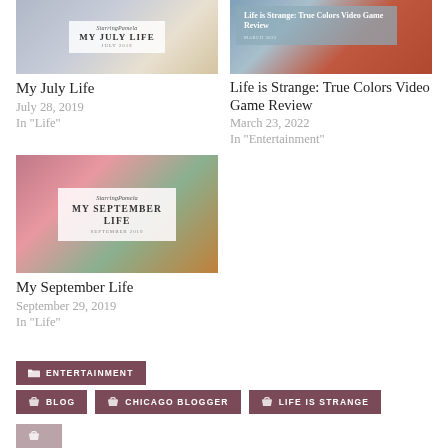[Figure (photo): Blog thumbnail for My July Life post - white card overlay on blurred street background with StarringPamela branding, title MY JULY LIFE, subtitle JULY 2019]
My July Life
July 28, 2019
In "Life"
[Figure (photo): Blog thumbnail for Life is Strange: True Colors Video Game Review - blue/teal and terracotta background with overlay text showing title and MARCH 2022]
Life is Strange: True Colors Video Game Review
March 23, 2022
In "Entertainment"
[Figure (photo): Blog thumbnail for My September Life post - floral pink and green background with white card showing StarringPamela, MY SEPTEMBER LIFE, SEPTEMBER 2019]
My September Life
September 29, 2019
In "Life"
ENTERTAINMENT
BLOG
CHICAGO BLOGGER
LIFE IS STRANGE